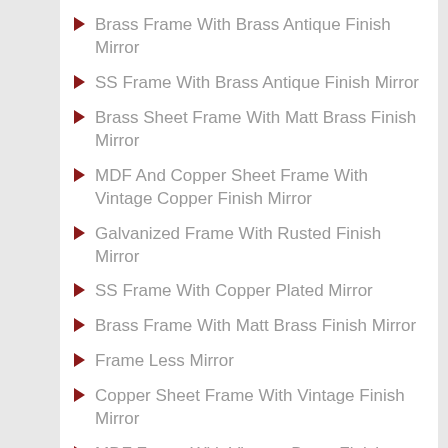Brass Frame With Brass Antique Finish Mirror
SS Frame With Brass Antique Finish Mirror
Brass Sheet Frame With Matt Brass Finish Mirror
MDF And Copper Sheet Frame With Vintage Copper Finish Mirror
Galvanized Frame With Rusted Finish Mirror
SS Frame With Copper Plated Mirror
Brass Frame With Matt Brass Finish Mirror
Frame Less Mirror
Copper Sheet Frame With Vintage Finish Mirror
MDF Frame With Vintage Brass Finish Mirror